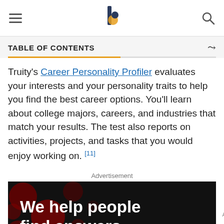TABLE OF CONTENTS
Truity's Career Personality Profiler evaluates your interests and your personality traits to help you find the best career options. You'll learn about college majors, careers, and industries that match your results. The test also reports on activities, projects, and tasks that you would enjoy working on. [11]
Advertisement
[Figure (photo): Advertisement banner: dark background with red dot bokeh decoration, large white bold text 'We help people find answers,' and a footer strip with smaller text 'We help people find answers, solve problems and get inspired.' alongside Dotdash Meredith logo and colored hexagon icon.]